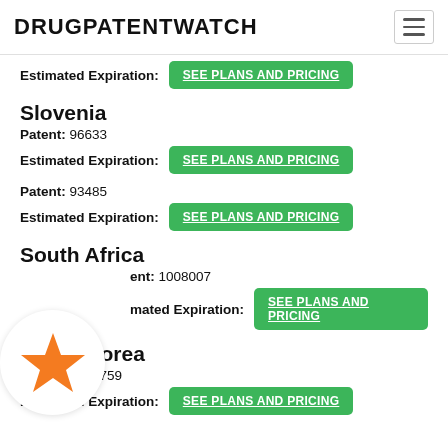DRUGPATENTWATCH
Estimated Expiration: SEE PLANS AND PRICING
Slovenia
Patent: 96633
Estimated Expiration: SEE PLANS AND PRICING
Patent: 93485
Estimated Expiration: SEE PLANS AND PRICING
South Africa
Patent: 1008007
Estimated Expiration: SEE PLANS AND PRICING
South Korea
Patent: 1645759
Estimated Expiration: SEE PLANS AND PRICING